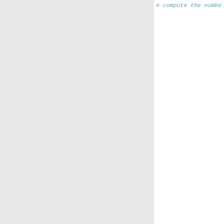# compute the numbe
# sahara_api_worker

# If ``sahara_engin
# compute the numbe
# sahara_engine_wor

sahara_task_executo
sahara_digest_algor
sahara_http_keepali

## Sahara policy
sahara_policy_file:
sahara_policy_defau
sahara_policy_dirs:

## Policy vars
# Provide a list of
# with the access c
#sahara_policy_over
#  "clusters:get_al
#  "clusters:create

sahara_service_in_l

# Sahara packages t
sahara_required_pip
  - virtualenv
  - virtualenv-tool